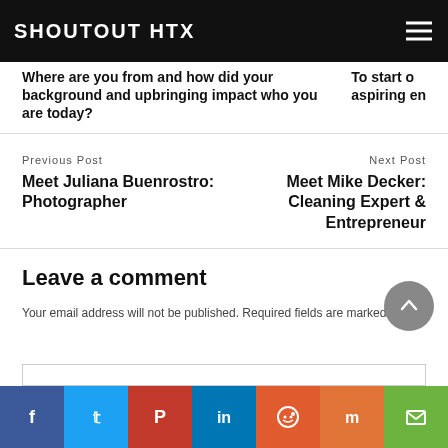SHOUTOUT HTX
Where are you from and how did your background and upbringing impact who you are today?
To start o... aspiring en...
Previous Post
Meet Juliana Buenrostro: Photographer
Next Post
Meet Mike Decker: Cleaning Expert & Entrepreneur
Leave a comment
Your email address will not be published. Required fields are marked *